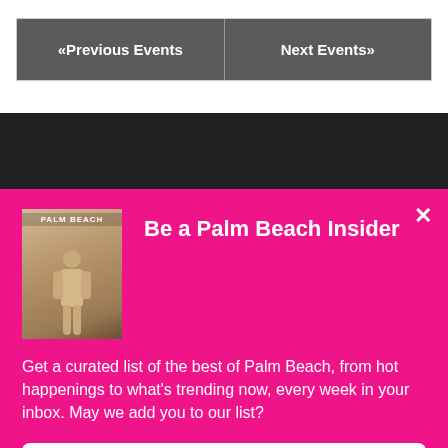« Previous Events
Next Events »
Be a Palm Beach Insider
Get a curated list of the best of Palm Beach, from hot happenings to what's trending now, every week in your inbox. May we add you to our list?
Sign Me Up!